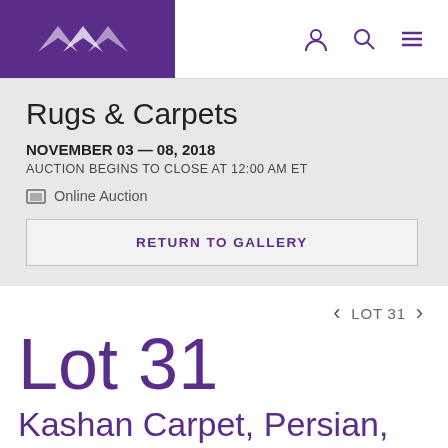Rugs & Carpets | Online Auction Navigation
Rugs & Carpets
NOVEMBER 03 — 08, 2018
AUCTION BEGINS TO CLOSE AT 12:00 AM ET
Online Auction
RETURN TO GALLERY
LOT 31
Lot 31
Kashan Carpet, Persian, late